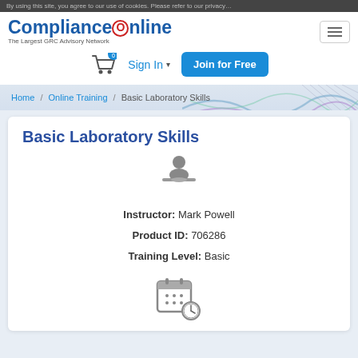By using this site, you agree to our use of cookies. Please refer to our privacy...
[Figure (logo): ComplianceOnline logo - The Largest GRC Advisory Network]
[Figure (illustration): Hamburger menu icon (three horizontal lines)]
[Figure (illustration): Shopping cart icon with badge showing 0]
Sign In
Join for Free
Home / Online Training / Basic Laboratory Skills
Basic Laboratory Skills
[Figure (illustration): Instructor/person icon (silhouette of person at desk)]
Instructor: Mark Powell
Product ID: 706286
Training Level: Basic
[Figure (illustration): Calendar with clock icon]